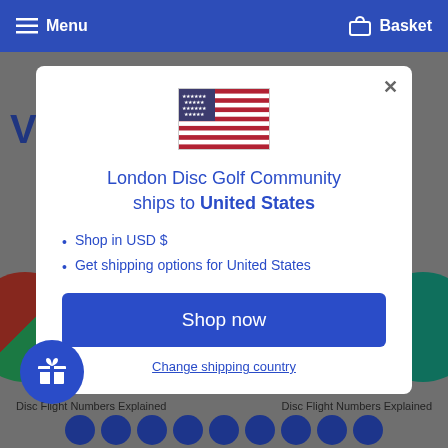Menu  Basket
[Figure (illustration): US flag emoji]
London Disc Golf Community ships to United States
Shop in USD $
Get shipping options for United States
Shop now
Change shipping country
Disc Flight Numbers Explained
Disc Flight Numbers Explained